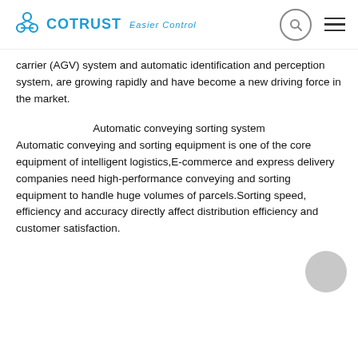COTRUST Easier Control
carrier (AGV) system and automatic identification and perception system, are growing rapidly and have become a new driving force in the market.
Automatic conveying sorting system
Automatic conveying and sorting equipment is one of the core equipment of intelligent logistics,E-commerce and express delivery companies need high-performance conveying and sorting equipment to handle huge volumes of parcels.Sorting speed, efficiency and accuracy directly affect distribution efficiency and customer satisfaction.